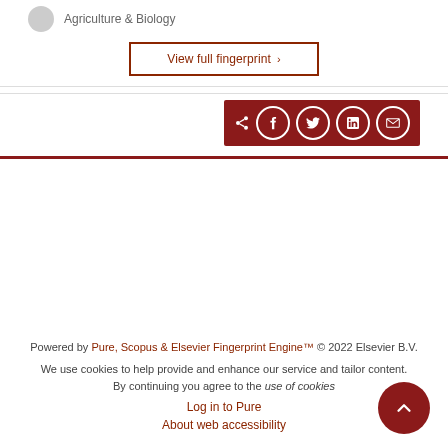Agriculture & Biology
View full fingerprint ›
[Figure (other): Social share bar with icons for Facebook, Twitter, LinkedIn, and email on a dark red background]
Powered by Pure, Scopus & Elsevier Fingerprint Engine™ © 2022 Elsevier B.V.
We use cookies to help provide and enhance our service and tailor content. By continuing you agree to the use of cookies
Log in to Pure
About web accessibility